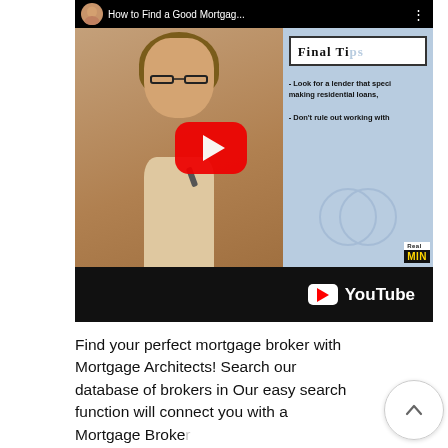[Figure (screenshot): YouTube video thumbnail showing a woman with glasses and shoulder-length hair in front of a light blue background with text 'Final Tips' in a box, along with tips about finding a lender. A large YouTube play button is overlaid in the center. The video is titled 'How to Find a Good Mortgag...' The bottom bar shows the YouTube logo.]
Find your perfect mortgage broker with Mortgage Architects! Search our database of brokers in Our easy search function will connect you with a Mortgage Broker